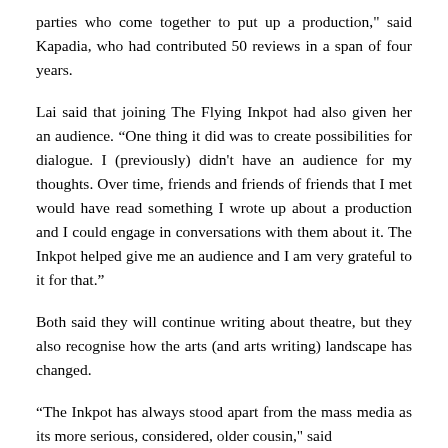parties who come together to put up a production," said Kapadia, who had contributed 50 reviews in a span of four years.
Lai said that joining The Flying Inkpot had also given her an audience. “One thing it did was to create possibilities for dialogue. I (previously) didn't have an audience for my thoughts. Over time, friends and friends of friends that I met would have read something I wrote up about a production and I could engage in conversations with them about it. The Inkpot helped give me an audience and I am very grateful to it for that.”
Both said they will continue writing about theatre, but they also recognise how the arts (and arts writing) landscape has changed.
“The Inkpot has always stood apart from the mass media as its more serious, considered, older cousin,” said